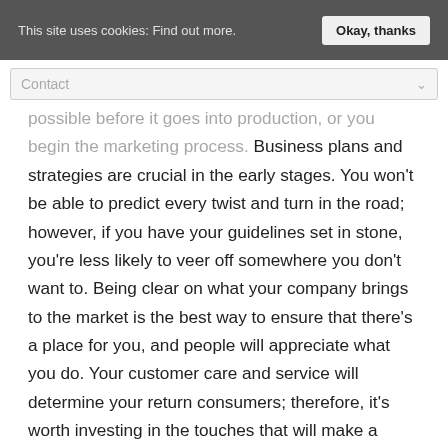This site uses cookies: Find out more.  Okay, thanks
Contact
possible before it goes into production, or you begin the marketing process. Business plans and strategies are crucial in the early stages. You won't be able to predict every twist and turn in the road; however, if you have your guidelines set in stone, you're less likely to veer off somewhere you don't want to. Being clear on what your company brings to the market is the best way to ensure that there's a place for you, and people will appreciate what you do. Your customer care and service will determine your return consumers; therefore, it's worth investing in the touches that will make a huge difference, like an email or call answering service so that information and responses can be present, even when you're not.